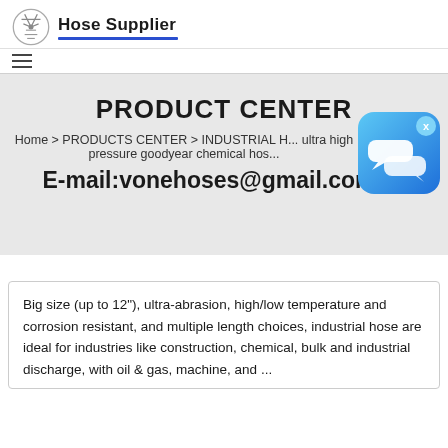Hose Supplier
Home > PRODUCTS CENTER > INDUSTRIAL H... ultra high pressure goodyear chemical hos...
PRODUCT CENTER
E-mail:vonehoses@gmail.com
Big size (up to 12"), ultra-abrasion, high/low temperature and corrosion resistant, and multiple length choices, industrial hose are ideal for industries like construction, chemical, bulk and industrial discharge, with oil & gas, machine, and ...